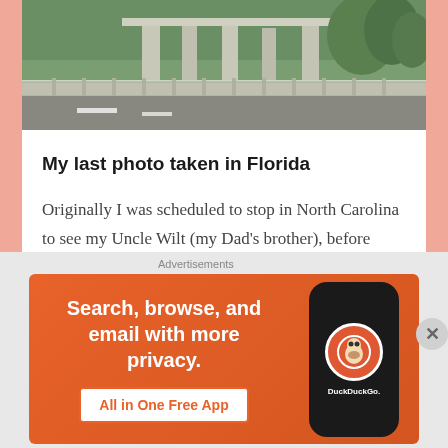[Figure (photo): Road photo showing a highway with guardrails and green trees in the background — described as last photo taken in Florida]
My last photo taken in Florida
Originally I was scheduled to stop in North Carolina to see my Uncle Wilt (my Dad's brother), before returning to Virginia. He had been ill and in the hospital for over a month. I spoke to my cousin LaTasha, (his daughter), on last Thursday morning to say I would be there on Monday. By Thursday afternoon things quickly changed and
[Figure (screenshot): DuckDuckGo advertisement banner: 'Search, browse, and email with more privacy. All in One Free App' with DuckDuckGo logo on a phone graphic, orange background]